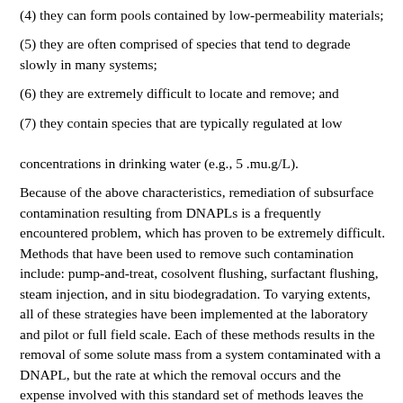(4) they can form pools contained by low-permeability materials;
(5) they are often comprised of species that tend to degrade slowly in many systems;
(6) they are extremely difficult to locate and remove; and
(7) they contain species that are typically regulated at low concentrations in drinking water (e.g., 5 .mu.g/L).
Because of the above characteristics, remediation of subsurface contamination resulting from DNAPLs is a frequently encountered problem, which has proven to be extremely difficult. Methods that have been used to remove such contamination include: pump-and-treat, cosolvent flushing, surfactant flushing, steam injection, and in situ biodegradation. To varying extents, all of these strategies have been implemented at the laboratory and pilot or full field scale. Each of these methods results in the removal of some solute mass from a system contaminated with a DNAPL, but the rate at which the removal occurs and the expense involved with this standard set of methods leaves the problem of DNAPL remediation unsolved. The advantages and disadvantages of the common set of DNAPL removal and containment strategies are described in detail as follows.